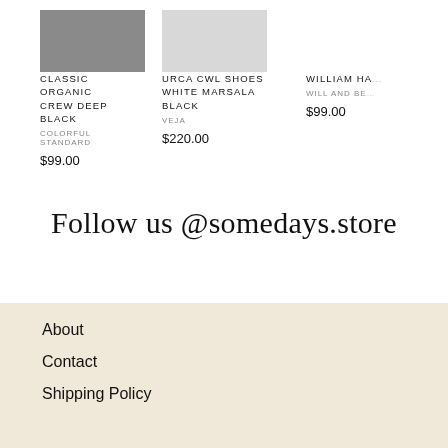[Figure (photo): Partial product image of Classic Organic Crew Deep Black clothing item, grey/dark colored]
CLASSIC ORGANIC CREW DEEP BLACK
COLORFUL STANDARD
$99.00
[Figure (photo): Partial product image of Urca CWL Shoes White Marsala Black, light/white colored]
URCA CWL SHOES WHITE MARSALA BLACK
VEJA
$220.00
WILLIAM HA...
WILL AND BE...
$99.00
Follow us @somedays.store
About
Contact
Shipping Policy